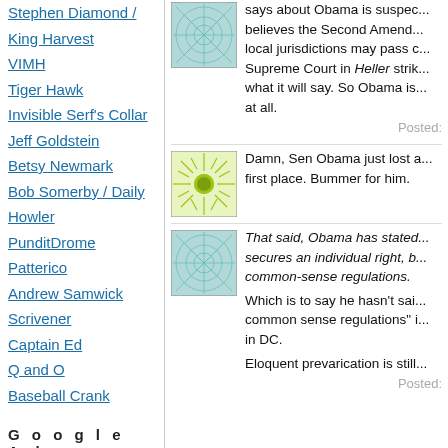Stephen Diamond / King Harvest
VIMH
Tiger Hawk
Invisible Serf's Collar
Jeff Goldstein
Betsy Newmark
Bob Somerby / Daily Howler
PunditDrome
Patterico
Andrew Samwick
Scrivener
Captain Ed
Q and O
Baseball Crank
G o o g l e   A d
[Figure (illustration): Teal blue web/network pattern avatar image, square]
Jeralyn Merritt is a dyed-in-th... says about Obama is suspec... believes the Second Amend... local jurisdictions may pass c... Supreme Court in Heller strik... what it will say. So Obama is... at all.
Posted:
[Figure (illustration): Green sunburst / radial pattern avatar image, square]
Damn, Sen Obama just lost a... first place. Bummer for him.
[Figure (illustration): Teal blue web/network pattern avatar image, square]
That said, Obama has stated... secures an individual right, b... common-sense regulations.
Which is to say he hasn't sai... common sense regulations" i... in DC.
Eloquent prevarication is still...
Posted: